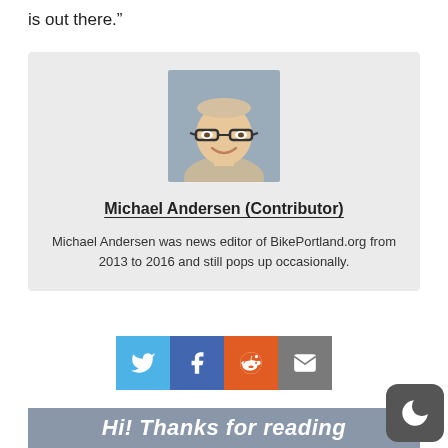is out there.”
[Figure (photo): Headshot photo of Michael Andersen, a man wearing glasses, smiling, with short light hair]
Michael Andersen (Contributor)
Michael Andersen was news editor of BikePortland.org from 2013 to 2016 and still pops up occasionally.
[Figure (infographic): Row of four social share buttons: Twitter (blue), Facebook (dark blue), Reddit (orange), Email (grey)]
Hi! Thanks for reading